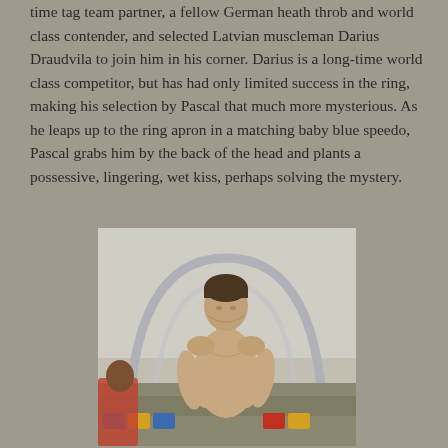time tag team partner, a fellow German heath throb and world class contender, and selected Latvian muscleman Darius Draudvila to join him in his corner. Darius is a long-time world class competitor, but has had only limited success in the ring, making his selection by Pascal that much more mysterious. As he leaps up to the ring apron in a matching baby blue speedo, Pascal grabs him by the back of the head and plants a possessive, lingering, wet kiss, perhaps solving the mystery.
[Figure (photo): A shirtless athletic man photographed outdoors near a stadium bench/shelter structure with curved metal arc behind him. Another person visible in the background. Colorful seats visible.]